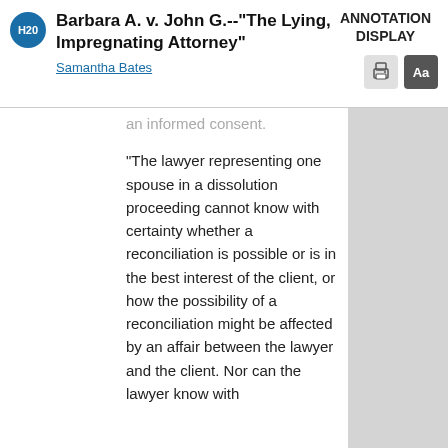Barbara A. v. John G.--"The Lying, Impregnating Attorney"
Samantha Bates
ANNOTATION DISPLAY
an informed consent.

"The lawyer representing one spouse in a dissolution proceeding cannot know with certainty whether a reconciliation is possible or is in the best interest of the client, or how the possibility of a reconciliation might be affected by an affair between the lawyer and the client. Nor can the lawyer know with